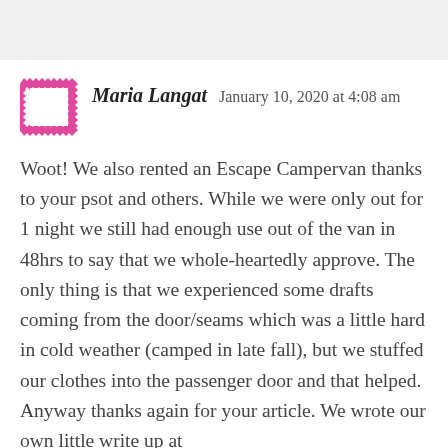Maria Langat   January 10, 2020 at 4:08 am
Woot! We also rented an Escape Campervan thanks to your psot and others. While we were only out for 1 night we still had enough use out of the van in 48hrs to say that we whole-heartedly approve. The only thing is that we experienced some drafts coming from the door/seams which was a little hard in cold weather (camped in late fall), but we stuffed our clothes into the passenger door and that helped. Anyway thanks again for your article. We wrote our own little write up at https://maxplusmariatravel.com/escape-